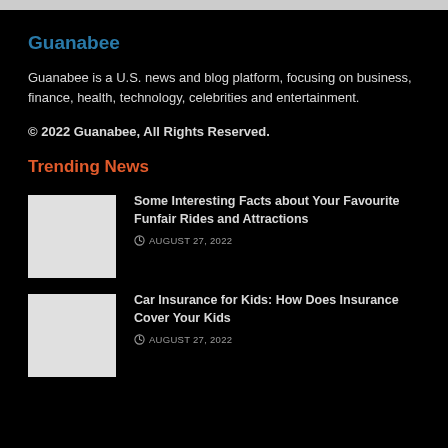Guanabee
Guanabee is a U.S. news and blog platform, focusing on business, finance, health, technology, celebrities and entertainment.
© 2022 Guanabee, All Rights Reserved.
Trending News
[Figure (photo): Thumbnail image for funfair article]
Some Interesting Facts about Your Favourite Funfair Rides and Attractions
AUGUST 27, 2022
[Figure (photo): Thumbnail image for car insurance article]
Car Insurance for Kids: How Does Insurance Cover Your Kids
AUGUST 27, 2022